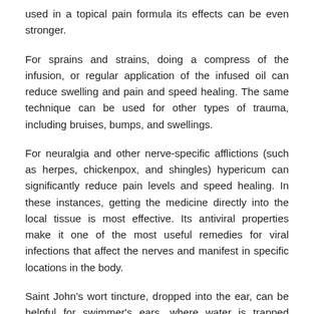used in a topical pain formula its effects can be even stronger.
For sprains and strains, doing a compress of the infusion, or regular application of the infused oil can reduce swelling and pain and speed healing. The same technique can be used for other types of trauma, including bruises, bumps, and swellings.
For neuralgia and other nerve-specific afflictions (such as herpes, chickenpox, and shingles) hypericum can significantly reduce pain levels and speed healing. In these instances, getting the medicine directly into the local tissue is most effective. Its antiviral properties make it one of the most useful remedies for viral infections that affect the nerves and manifest in specific locations in the body.
Saint John's wort tincture, dropped into the ear, can be helpful for swimmer's ears, where water is trapped inside the ear canal. It is important to use the tincture and not the oil for this purpose. The alcohol of the tincture helps to evaporate the water (while an oil would only trap it) and the hypericum helps to reduce pain